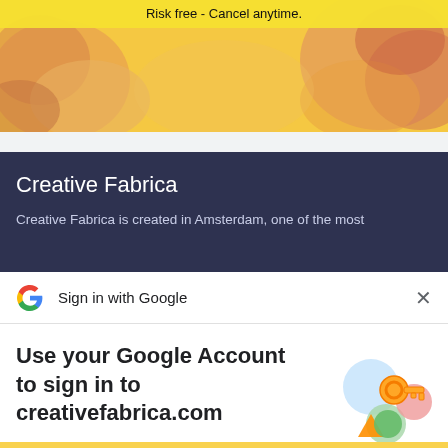[Figure (screenshot): Floral banner background with yellow/orange flowers, with yellow highlighted bar and 'Risk free - Cancel anytime.' text]
Risk free - Cancel anytime.
Creative Fabrica
Creative Fabrica is created in Amsterdam, one of the most
[Figure (screenshot): Sign in with Google dialog header with Google G logo and X close button]
Use your Google Account to sign in to creativefabrica.com
No more passwords to remember. Signing in is fast, simple and secure.
[Figure (illustration): Google key illustration showing a gold key with colorful circles]
Continue